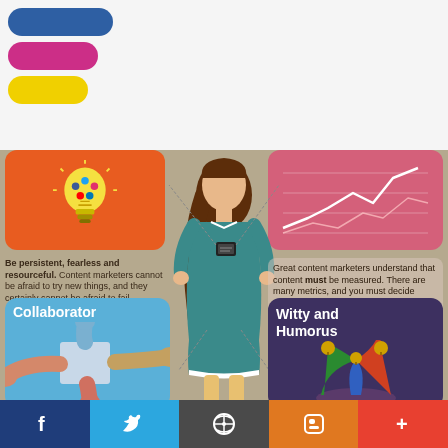[Figure (logo): Three colored pill/capsule shapes stacked: blue, pink/magenta, yellow - forming a logo]
[Figure (infographic): Infographic about content marketer traits showing a central female figure in teal dress, with four surrounding cards: orange card with lightbulb icon (persistence/fearless), pink card with line chart (metrics), blue card 'Collaborator' with hands, dark purple card 'Witty and Humorous' with jester hat. Text blocks explain each trait.]
Be persistent, fearless and resourceful. Content marketers cannot be afraid to try new things, and they certainly cannot be afraid to fail.
Great content marketers understand that content must be measured. There are many metrics, and you must decide which to use based on your marketing and business goals.
Collaborator
Witty and Humorus
f  Twitter  WordPress  Blogger  +